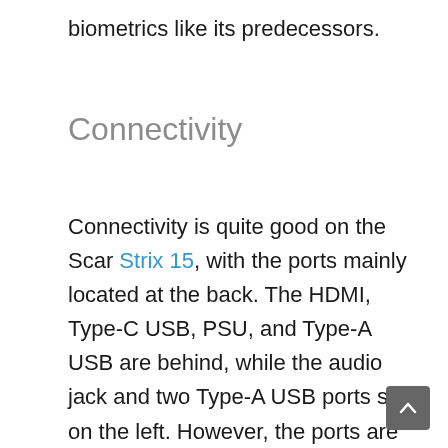biometrics like its predecessors.
Connectivity
Connectivity is quite good on the Scar Strix 15, with the ports mainly located at the back. The HDMI, Type-C USB, PSU, and Type-A USB are behind, while the audio jack and two Type-A USB ports sit on the left. However, the ports are not compatible with Thunderbolt 4.